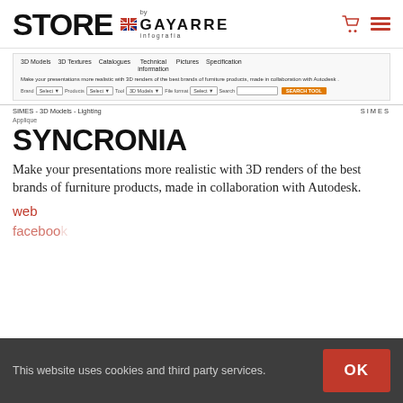STORE by GAYARRE infografia
[Figure (screenshot): Screenshot of STORE by Gayarre infografia website showing 3D Models navigation, search filters, and SIMES 3D Models Lighting page]
SYNCRONIA
Make your presentations more realistic with 3D renders of the best brands of furniture products, made in collaboration with Autodesk.
web
facebook
This website uses cookies and third party services.